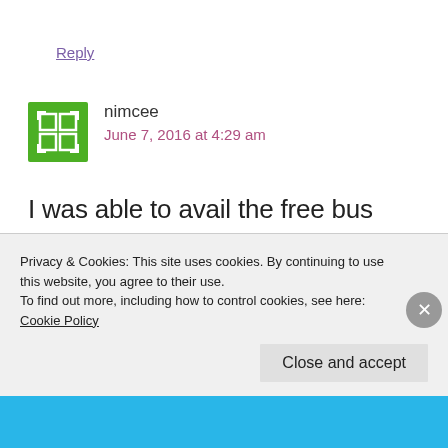Reply
[Figure (logo): Green avatar icon with white grid/window symbol for user nimcee]
nimcee
June 7, 2016 at 4:29 am
I was able to avail the free bus tour! Ang saya! I can't believe it's free! You need to be early though when listing up for the bus tour because lots of people take advantage of it. There a fees
Privacy & Cookies: This site uses cookies. By continuing to use this website, you agree to their use.
To find out more, including how to control cookies, see here: Cookie Policy
Close and accept